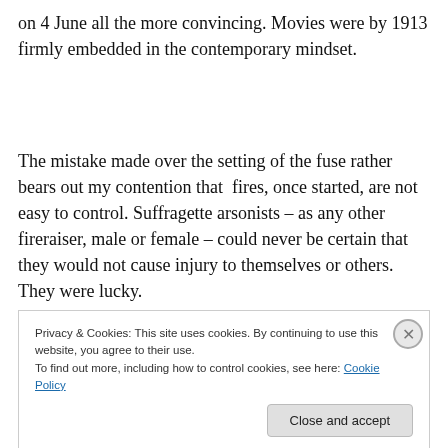on 4 June all the more convincing. Movies were by 1913 firmly embedded in the contemporary mindset.
The mistake made over the setting of the fuse rather bears out my contention that fires, once started, are not easy to control. Suffragette arsonists – as any other fireraiser, male or female – could never be certain that they would not cause injury to themselves or others. They were lucky.
Privacy & Cookies: This site uses cookies. By continuing to use this website, you agree to their use.
To find out more, including how to control cookies, see here: Cookie Policy
Close and accept